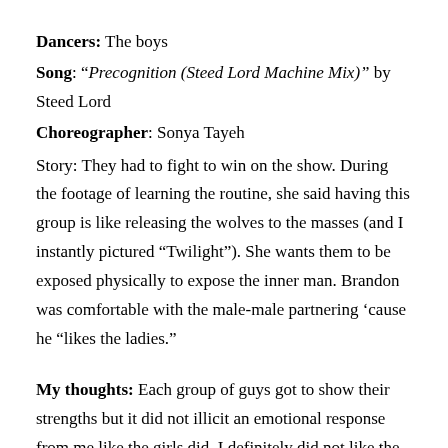Dancers: The boys
Song: “Precognition (Steed Lord Machine Mix)” by Steed Lord
Choreographer: Sonya Tayeh
Story: They had to fight to win on the show. During the footage of learning the routine, she said having this group is like releasing the wolves to the masses (and I instantly pictured “Twilight”). She wants them to be exposed physically to expose the inner man. Brandon was comfortable with the male-male partnering ‘cause he “likes the ladies.”
My thoughts: Each group of guys got to show their strengths but it did not illicit an emotional response from me like the girls did. I definitely did not like the high-waisted costumes. The guys looked very uncomfortable in them.
The judges: Nigel does not like the pants either (called them